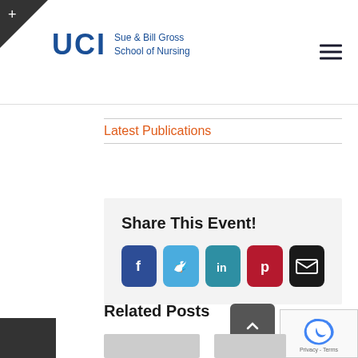UCI Sue & Bill Gross School of Nursing
Latest Publications
Share This Event!
[Figure (infographic): Social sharing icons: Facebook (blue), Twitter (light blue), LinkedIn (teal), Pinterest (red), Email (black)]
Related Posts